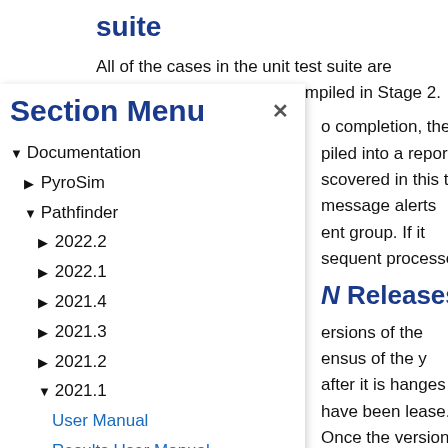suite
All of the cases in the unit test suite are invoked using Pathfinder compiled in Stage 2.
o completion, the piled into a report scovered in this t message alerts ent group. If it sequent processes
N Releases
ersions of the ensus of the y after it is hanges have been lease. Once the version is given a
[Figure (screenshot): Section Menu overlay panel showing a navigation tree with Documentation > PyroSim, Pathfinder (expanded with versions 2022.2, 2022.1, 2021.4, 2021.3, 2021.2, 2021.1 expanded with User Manual, Results User Manual, Technical Manual links)]